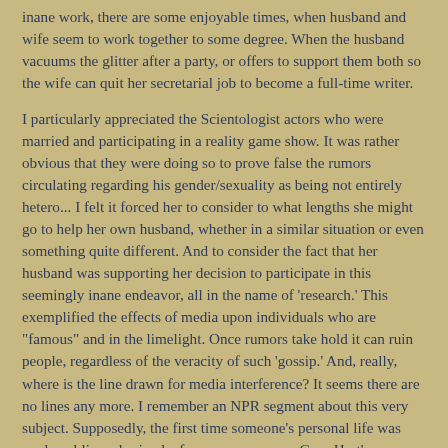inane work, there are some enjoyable times, when husband and wife seem to work together to some degree. When the husband vacuums the glitter after a party, or offers to support them both so the wife can quit her secretarial job to become a full-time writer.
I particularly appreciated the Scientologist actors who were married and participating in a reality game show. It was rather obvious that they were doing so to prove false the rumors circulating regarding his gender/sexuality as being not entirely hetero... I felt it forced her to consider to what lengths she might go to help her own husband, whether in a similar situation or even something quite different. And to consider the fact that her husband was supporting her decision to participate in this seemingly inane endeavor, all in the name of 'research.' This exemplified the effects of media upon individuals who are "famous" and in the limelight. Once rumors take hold it can ruin people, regardless of the veracity of such 'gossip.' And, really, where is the line drawn for media interference? It seems there are no lines any more. I remember an NPR segment about this very subject. Supposedly, the first time someone's personal life was made public and ruined a famous person was Gary Hart's presidential nomination bid in the 1980's. One name: Donna Rice.